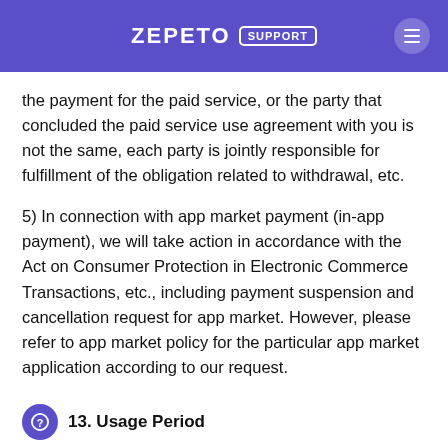ZEPETO SUPPORT
the payment for the paid service, or the party that concluded the paid service use agreement with you is not the same, each party is jointly responsible for fulfillment of the obligation related to withdrawal, etc.
5) In connection with app market payment (in-app payment), we will take action in accordance with the Act on Consumer Protection in Electronic Commerce Transactions, etc., including payment suspension and cancellation request for app market. However, please refer to app market policy for the particular app market application according to our request.
13. Usage Period